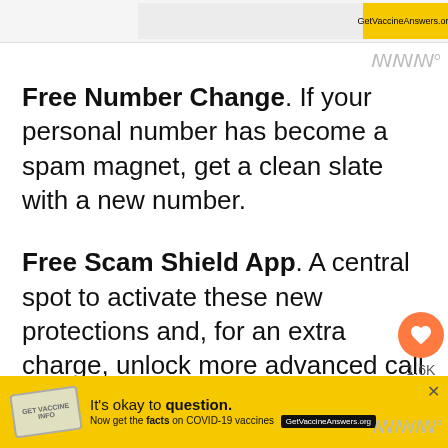[Figure (screenshot): Top advertisement banner with grey/white background and yellow button area, partially cropped]
Free Number Change. If your personal number has become a spam magnet, get a clean slate with a new number.
Free Scam Shield App. A central spot to activate these new protections and, for an extra charge, unlock more advanced call controls. Sprint customers now get free protections — previously an added charge — ... the upgraded Call Screener app.
[Figure (screenshot): Bottom advertisement banner: It's okay to question. Now get the facts on COVID-19 vaccines. GetVaccineAnswers.org]